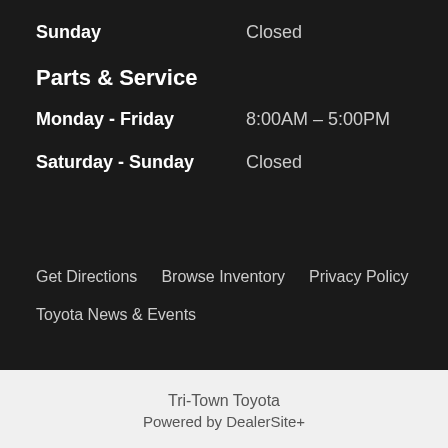Sunday    Closed
Parts & Service
Monday - Friday    8:00AM – 5:00PM
Saturday - Sunday    Closed
Get Directions    Browse Inventory    Privacy Policy    Toyota News & Events
Tri-Town Toyota
Powered by DealerSite+